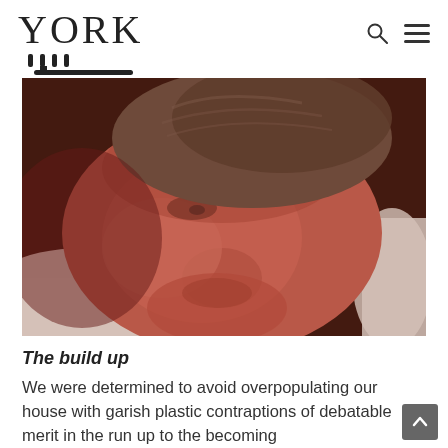YORK
[Figure (photo): Close-up photo of a sleeping newborn baby wearing a brown knit hat, face resting against white bedding, warm reddish skin tones, peaceful expression.]
The build up
We were determined to avoid overpopulating our house with garish plastic contraptions of debatable merit in the run up to the becoming